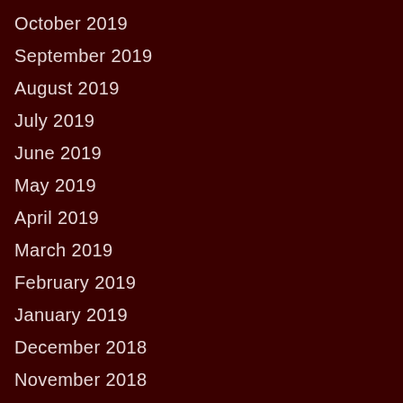October 2019
September 2019
August 2019
July 2019
June 2019
May 2019
April 2019
March 2019
February 2019
January 2019
December 2018
November 2018
October 2019